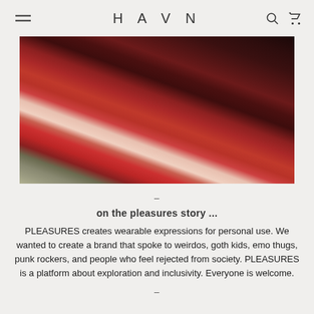HAVN
[Figure (photo): Close-up photo of a person wearing a dark maroon/black t-shirt and red/burgundy pants, sitting near gravel ground. Another person in red fabric is partially visible on the right.]
–
on the pleasures story ...
PLEASURES creates wearable expressions for personal use. We wanted to create a brand that spoke to weirdos, goth kids, emo thugs, punk rockers, and people who feel rejected from society. PLEASURES is a platform about exploration and inclusivity. Everyone is welcome.
–